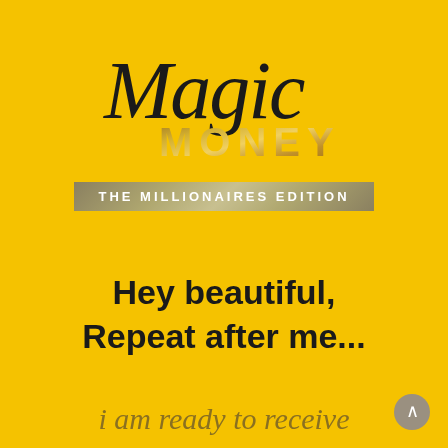[Figure (logo): Magic Money - The Millionaires Edition logo on yellow background. 'Magic' in black cursive script, 'MONEY' in gold glitter bold uppercase letters, below a gold/tan banner reading 'THE MILLIONAIRES EDITION']
Hey beautiful,
Repeat after me...
i am ready to receive